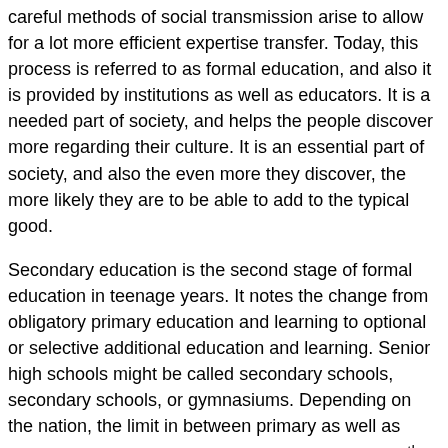careful methods of social transmission arise to allow for a lot more efficient expertise transfer. Today, this process is referred to as formal education, and also it is provided by institutions as well as educators. It is a needed part of society, and helps the people discover more regarding their culture. It is an essential part of society, and also the even more they discover, the more likely they are to be able to add to the typical good.
Secondary education is the second stage of formal education in teenage years. It notes the change from obligatory primary education and learning to optional or selective additional education and learning. Senior high schools might be called secondary schools, secondary schools, or gymnasiums. Depending on the nation, the limit in between primary as well as secondary education may be anywhere from the 7th to tenth year of education. The limit between primary and also additional education and learning differs, but it generally occurs at the end of a kid's key education.
Modern technology has also become an increasingly crucial